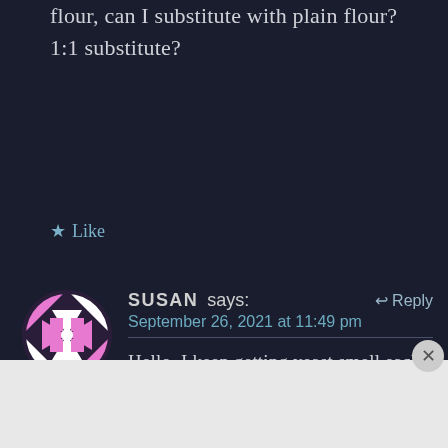flour, can I substitute with plain flour?
1:1 substitute?
★ Like
[Figure (illustration): Round avatar icon with a geometric pink and white quilt/pinwheel pattern on a dark background]
SUSAN says:    ↩ Reply
September 26, 2021 at 11:49 pm
Hello. I keep getting yeast smell each time I bake bread. Would you be able to advise? I follow the recipe accordingly. Thanks.
Advertisements